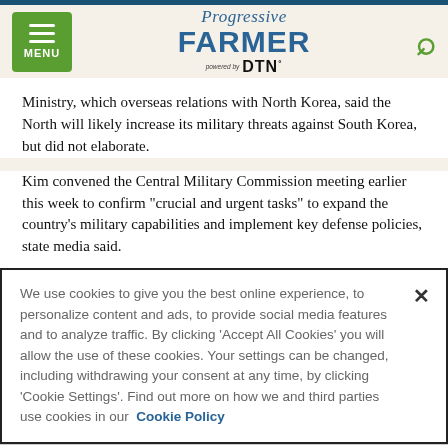Progressive Farmer powered by DTN
Ministry, which overseas relations with North Korea, said the North will likely increase its military threats against South Korea, but did not elaborate.
Kim convened the Central Military Commission meeting earlier this week to confirm "crucial and urgent tasks" to expand the country's military capabilities and implement key defense policies, state media said.
We use cookies to give you the best online experience, to personalize content and ads, to provide social media features and to analyze traffic. By clicking 'Accept All Cookies' you will allow the use of these cookies. Your settings can be changed, including withdrawing your consent at any time, by clicking 'Cookie Settings'. Find out more on how we and third parties use cookies in our Cookie Policy
Accept and Close ✕
Your browser settings do not allow cross-site tracking for advertising. Click on this page to allow AdRoll to use cross-site tracking to tailor ads to you. Learn more or opt out of this AdRoll tracking by clicking here. This message only appears once.